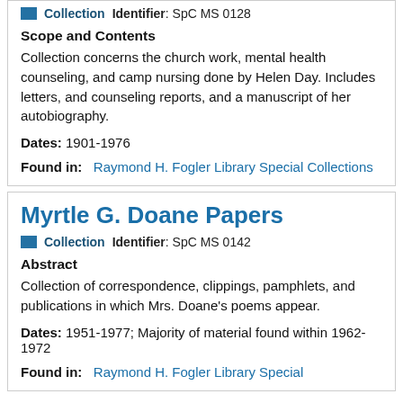Collection   Identifier: SpC MS 0128
Scope and Contents
Collection concerns the church work, mental health counseling, and camp nursing done by Helen Day. Includes letters, and counseling reports, and a manuscript of her autobiography.
Dates: 1901-1976
Found in:   Raymond H. Fogler Library Special Collections
Myrtle G. Doane Papers
Collection   Identifier: SpC MS 0142
Abstract
Collection of correspondence, clippings, pamphlets, and publications in which Mrs. Doane's poems appear.
Dates: 1951-1977; Majority of material found within 1962-1972
Found in:   Raymond H. Fogler Library Special